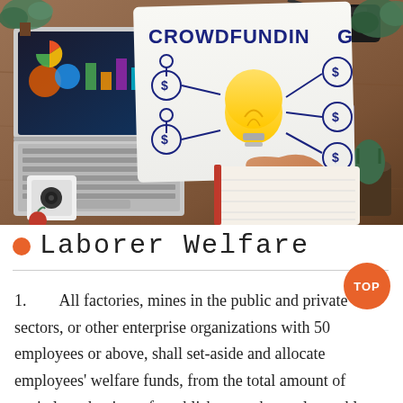[Figure (photo): Overhead desk scene showing a laptop with data charts on screen, a whiteboard paper with 'CROWDFUNDING' text and a lightbulb diagram with dollar-sign icons and arrows, a hand writing in a notebook, a camera, a glass of water, and plants on a wooden desk surface.]
Laborer Welfare
All factories, mines in the public and private sectors, or other enterprise organizations with 50 employees or above, shall set-aside and allocate employees' welfare funds, from the total amount of capitals at the time of establishment, the total monthly business incomes, the monthly salaries or